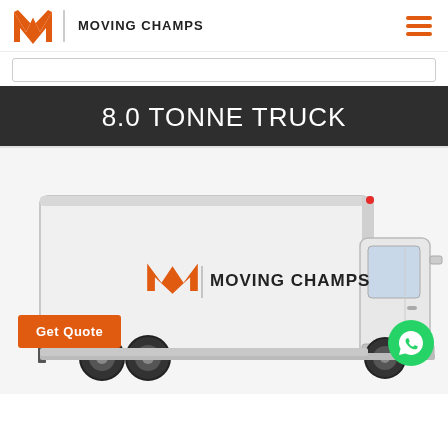Moving Champs
8.0 TONNE TRUCK
[Figure (illustration): Moving Champs 8.0 tonne truck illustration — a white box truck with Moving Champs logo and name on the side, cab visible on the right]
Get Quote